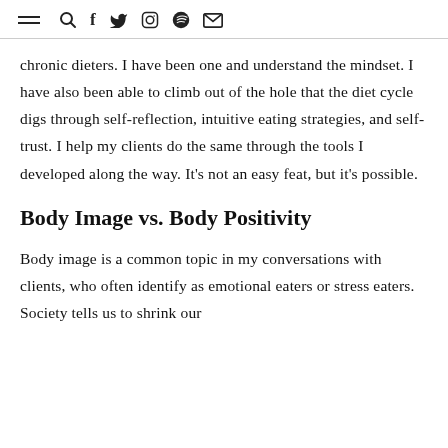≡ 🔍 f 🐦 📷 ● ✉
chronic dieters. I have been one and understand the mindset. I have also been able to climb out of the hole that the diet cycle digs through self-reflection, intuitive eating strategies, and self-trust. I help my clients do the same through the tools I developed along the way. It's not an easy feat, but it's possible.
Body Image vs. Body Positivity
Body image is a common topic in my conversations with clients, who often identify as emotional eaters or stress eaters. Society tells us to shrink our